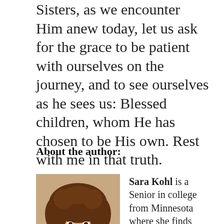Sisters, as we encounter Him anew today, let us ask for the grace to be patient with ourselves on the journey, and to see ourselves as he sees us: Blessed children, whom He has chosen to be His own. Rest with me in that truth.
About the author:
[Figure (photo): Portrait photo of Sara Kohl, a young woman with curly brown hair, smiling.]
Sara Kohl is a Senior in college from Minnesota where she finds peace and joy in the mundane, such as morning runs, Monday night football, and using all the